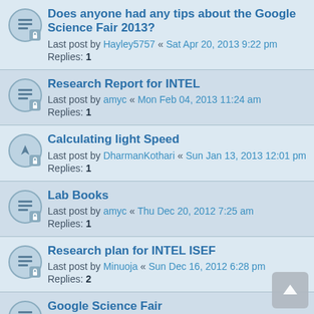Does anyone had any tips about the Google Science Fair 2013?
Last post by Hayley5757 « Sat Apr 20, 2013 9:22 pm
Replies: 1
Research Report for INTEL
Last post by amyc « Mon Feb 04, 2013 11:24 am
Replies: 1
Calculating light Speed
Last post by DharmanKothari « Sun Jan 13, 2013 12:01 pm
Replies: 1
Lab Books
Last post by amyc « Thu Dec 20, 2012 7:25 am
Replies: 1
Research plan for INTEL ISEF
Last post by Minuoja « Sun Dec 16, 2012 6:28 pm
Replies: 2
Google Science Fair
Last post by Chinwe « Wed Nov 28, 2012 5:25 pm
Applying for INTEL ISEF
Last post by Minuoja « Wed Oct 17, 2012...